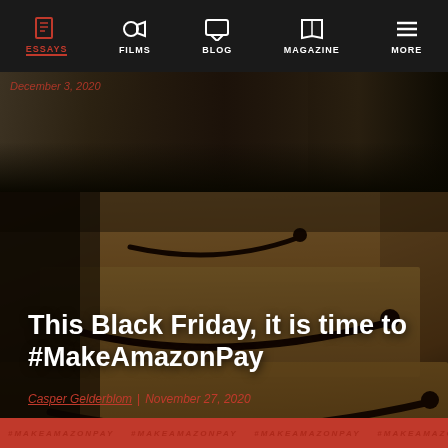ESSAYS | FILMS | BLOG | MAGAZINE | MORE
December 3, 2020
[Figure (photo): Website screenshot showing a navigation bar with icons for ESSAYS, FILMS, BLOG, MAGAZINE, MORE, and a hero image of Amazon shipping boxes piled up with the Amazon smile logo visible, overlaid with article title text.]
This Black Friday, it is time to #MakeAmazonPay
Casper Gelderblom | November 27, 2020